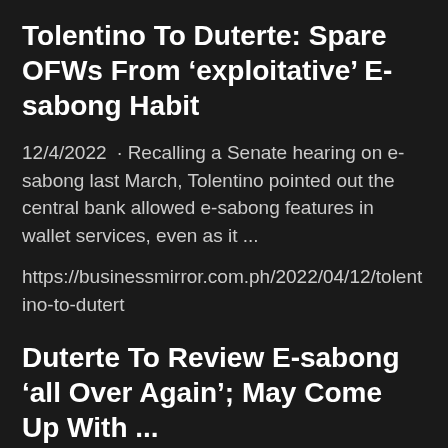Tolentino To Duterte: Spare OFWs From ‘exploitative’ E-sabong Habit
12/4/2022 · Recalling a Senate hearing on e-sabong last March, Tolentino pointed out the central bank allowed e-sabong features in wallet services, even as it ...
https://businessmirror.com.ph/2022/04/12/tolentino-to-dutert
Duterte To Review E-sabong 'all Over Again'; May Come Up With ...
1/5/2022 · President Duterte bared that he might come up with a decision by Monday, May 2, on